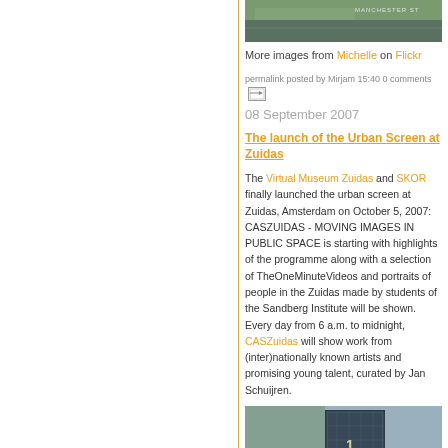[Figure (photo): Top photo showing outdoor scene with Manchester St sign, greenish tones]
More images from Michelle on Flickr
permalink posted by Mirjam 15:40 0 comments
08 September 2007
The launch of the Urban Screen at Zuidas
The Virtual Museum Zuidas and SKOR finally launched the urban screen at Zuidas, Amsterdam on October 5, 2007: CASZUIDAS - MOVING IMAGES IN PUBLIC SPACE is starting with highlights of the programme along with a selection of TheOneMinuteVideos and portraits of people in the Zuidas made by students of the Sandberg Institute will be shown. Every day from 6 a.m. to midnight, CASZuidas will show work from (inter)nationally known artists and promising young talent, curated by Jan Schuijren.
[Figure (photo): Bottom photo showing building exterior with VIRTUEEL text/sign overlay]